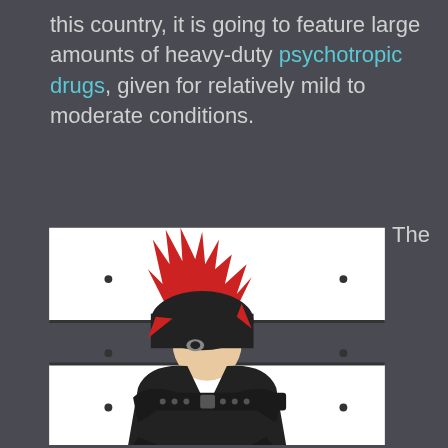this country, it is going to feature large amounts of heavy-duty psychotropic drugs, given for relatively mild to moderate conditions.
[Figure (illustration): Anime/cartoon style illustration of a character with spiky red hair, wearing a black hooded outfit with a belt, sitting with arms crossed against a background with white rectangular panels on dark background.]
The